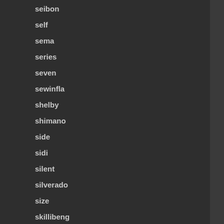seibon
self
sema
series
seven
sewinfla
shelby
shimano
side
sidi
silent
silverado
size
skillibeng
skull
snap
snapchat
solar
solid